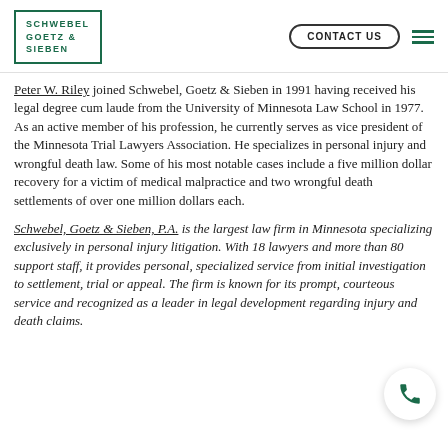SCHWEBEL GOETZ & SIEBEN | CONTACT US
Peter W. Riley joined Schwebel, Goetz & Sieben in 1991 having received his legal degree cum laude from the University of Minnesota Law School in 1977. As an active member of his profession, he currently serves as vice president of the Minnesota Trial Lawyers Association. He specializes in personal injury and wrongful death law. Some of his most notable cases include a five million dollar recovery for a victim of medical malpractice and two wrongful death settlements of over one million dollars each.
Schwebel, Goetz & Sieben, P.A. is the largest law firm in Minnesota specializing exclusively in personal injury litigation. With 18 lawyers and more than 80 support staff, it provides personal, specialized service from initial investigation to settlement, trial or appeal. The firm is known for its prompt, courteous service and recognized as a leader in legal development regarding injury and death claims.